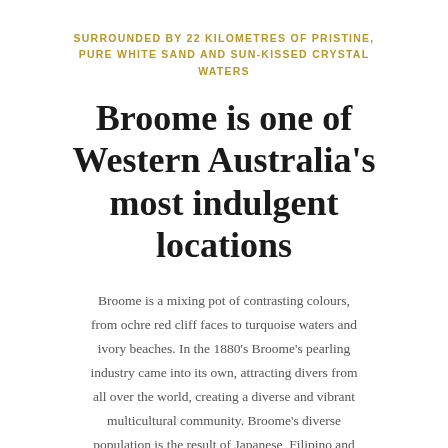SURROUNDED BY 22 KILOMETRES OF PRISTINE, PURE WHITE SAND AND SUN-KISSED CRYSTAL WATERS
Broome is one of Western Australia's most indulgent locations
Broome is a mixing pot of contrasting colours, from ochre red cliff faces to turquoise waters and ivory beaches. In the 1880's Broome's pearling industry came into its own, attracting divers from all over the world, creating a diverse and vibrant multicultural community. Broome's diverse population is the result of Japanese, Filipino and